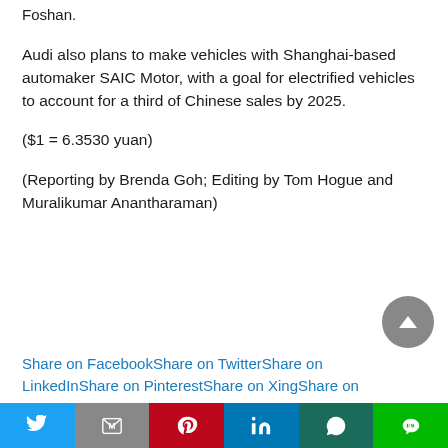Foshan.
Audi also plans to make vehicles with Shanghai-based automaker SAIC Motor, with a goal for electrified vehicles to account for a third of Chinese sales by 2025.
($1 = 6.3530 yuan)
(Reporting by Brenda Goh; Editing by Tom Hogue and Muralikumar Anantharaman)
Share on FacebookShare on TwitterShare on LinkedInShare on PinterestShare on XingShare on